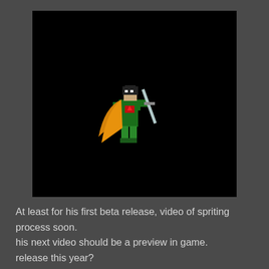[Figure (illustration): Pixel art game sprite of a character in green outfit with orange cape, holding a sword, on a black background]
At least for his first beta release, video of spriting process soon.
his next video should be a preview in game.
release this year?
maybe if i finish retrogamer project fat enough....
ZVitor at 6:42 AM   3 comments:
Share
Friday, October 20, 2017
Black or Blue?